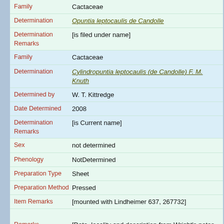Family: Cactaceae
Determination: Opuntia leptocaulis de Candolle
Determination Remarks: [is filed under name]
Family: Cactaceae
Determination: Cylindropuntia leptocaulis (de Candolle) F. M. Knuth
Determined by: W. T. Kittredge
Date Determined: 2008
Determination Remarks: [is Current name]
Sex: not determined
Phenology: NotDetermined
Preparation Type: Sheet
Preparation Method: Pressed
Item Remarks: [mounted with Lindheimer 637, 267732]
Remarks: [Date, locality and description from Wright's notes for fiel